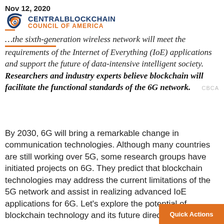Nov 12, 2020
[Figure (logo): Central Blockchain Council of America logo with spiral graphic and text]
...the sixth-generation wireless network will meet the requirements of the Internet of Everything (IoE) applications and support the future of data-intensive intelligent society. Researchers and industry experts believe blockchain will facilitate the functional standards of the 6G network.
By 2030, 6G will bring a remarkable change in communication technologies. Although many countries are still working over 5G, some research groups have initiated projects on 6G. They predict that blockchain technologies may address the current limitations of the 5G network and assist in realizing advanced IoE applications for 6G. Let’s explore the potential of blockchain technology and its future directions here.
Quick Actions